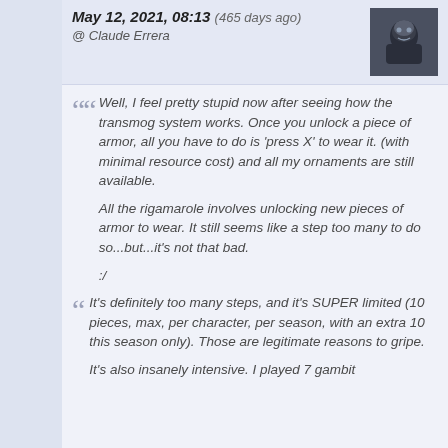May 12, 2021, 08:13 (465 days ago)
@ Claude Errera
Well, I feel pretty stupid now after seeing how the transmog system works. Once you unlock a piece of armor, all you have to do is 'press X' to wear it. (with minimal resource cost) and all my ornaments are still available.

All the rigamarole involves unlocking new pieces of armor to wear. It still seems like a step too many to do so...but...it's not that bad.

:/
It's definitely too many steps, and it's SUPER limited (10 pieces, max, per character, per season, with an extra 10 this season only). Those are legitimate reasons to gripe.

It's also insanely intensive. I played 7 gambit